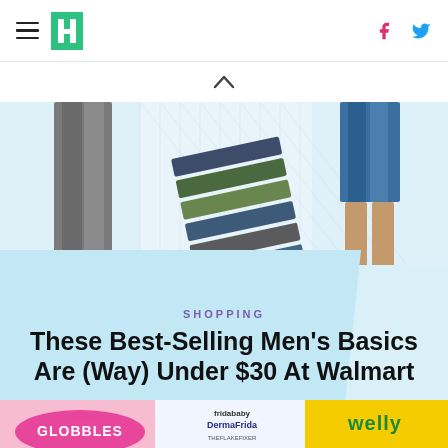HuffPost navigation with hamburger menu, logo, Facebook and Twitter icons
[Figure (photo): Men's clothing photo: man in grey trousers and black shoes on left, stacked folded pants/shorts in middle, man in blue shorts and brown shoes on right, on a grid background]
SHOPPING
These Best-Selling Men's Basics Are (Way) Under $30 At Walmart
[Figure (photo): Bottom partial image showing Crayola Globbles, Fridababy DermaFrida, and Welly product packaging]